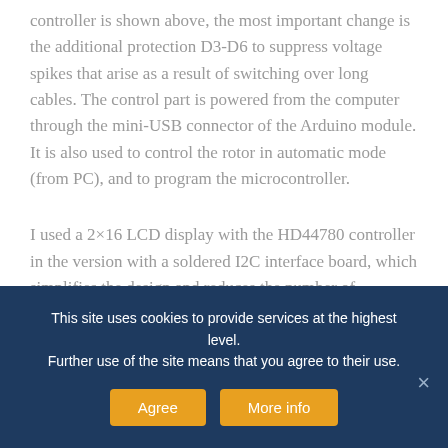controller is shown above, the most important change is the additional protection D3-D6 to suppress voltage spikes that arise as a result of switching over long cables. The control part is powered from the computer through the mini-USB connector of the Arduino module. It is also used to control the rotor in automatic mode (from PC), and to program the microcontroller.
I used a 2×16 LCD display with the HD44780 controller in the version with a soldered I2C interface board, which simplifies the design and reduces the number of connections. Versions in
This site uses cookies to provide services at the highest level. Further use of the site means that you agree to their use.